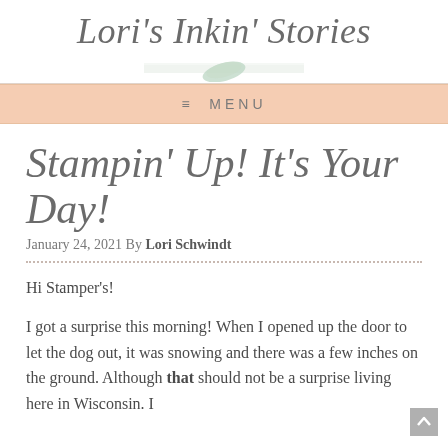Lori's Inkin' Stories
≡  MENU
Stampin' Up! It's Your Day!
January 24, 2021 By Lori Schwindt
Hi Stamper's!
I got a surprise this morning! When I opened up the door to let the dog out, it was snowing and there was a few inches on the ground. Although that should not be a surprise living here in Wisconsin. I